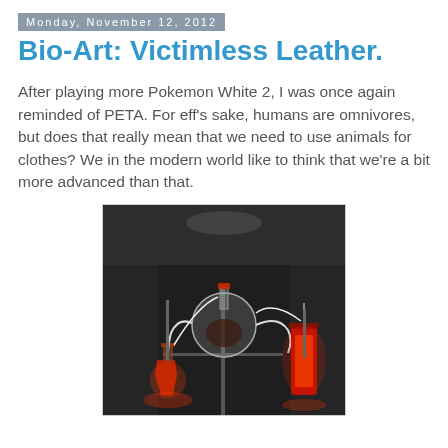Monday, November 12, 2012
Bio-Art: Victimless Leather.
After playing more Pokemon White 2, I was once again reminded of PETA. For eff's sake, humans are omnivores, but does that really mean that we need to use animals for clothes? We in the modern world like to think that we're a bit more advanced than that.
[Figure (photo): Laboratory photograph showing glass flasks and scientific apparatus with red-lit liquid, connected by tubing, mounted on a stand in a dark room — depicting the victimless leather bioreactor art installation.]